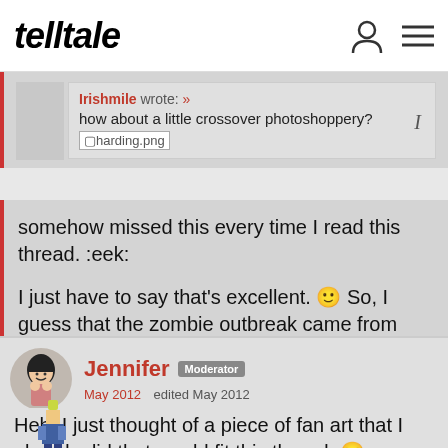telltale
Irishmile wrote: » how about a little crossover photoshoppery? [harding.png]
somehow missed this every time I read this thread. :eek:
I just have to say that's excellent. 🙂 So, I guess that the zombie outbreak came from dinosaur venom! 😆
Jennifer Moderator
May 2012   edited May 2012
Heh, I just thought of a piece of fan art that I already did that would fit this thread. 😆
[Figure (illustration): Small pixel art character figure at bottom of page]